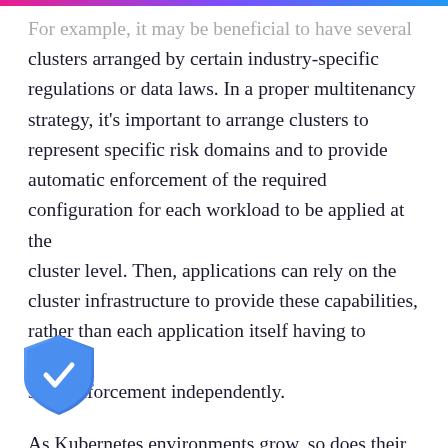For example, it may be beneficial to have several clusters arranged by certain industry-specific regulations or data laws. In a proper multitenancy strategy, it's important to arrange clusters to represent specific risk domains and to provide automatic enforcement of the required configuration for each workload to be applied at the cluster level. Then, applications can rely on the cluster infrastructure to provide these capabilities, rather than each application itself having to reinvent such enforcement independently.
As Kubernetes environments grow, so does their complexity. By stepping back and creating a streamlined multitenancy strategy, organizations can customize deployments to meet both their IT